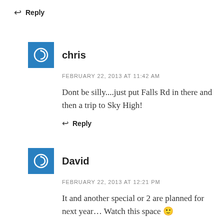↩ Reply
chris
FEBRUARY 22, 2013 AT 11:42 AM
Dont be silly....just put Falls Rd in there and then a trip to Sky High!
↩ Reply
David
FEBRUARY 22, 2013 AT 12:21 PM
It and another special or 2 are planned for next year... Watch this space 🙂
If we have decided the date to have...